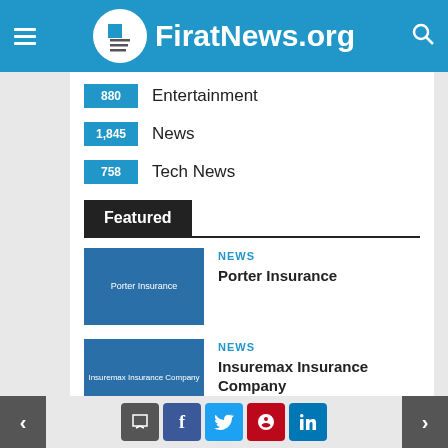FiratNews.org
880 Entertainment
1,845 News
758 Tech News
Featured
NEWS — Porter Insurance
NEWS — Insuremax Insurance Company
NEWS — Quotza Insurance
< [comment] [f] [tweet] [pinterest] [linkedin] >